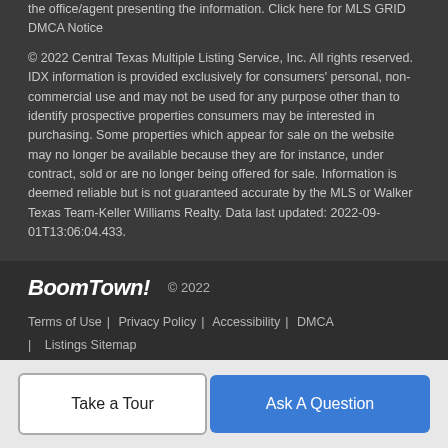the office/agent presenting the information. Click here for MLS GRID DMCA Notice
© 2022 Central Texas Multiple Listing Service, Inc. All rights reserved. IDX information is provided exclusively for consumers' personal, non-commercial use and may not be used for any purpose other than to identify prospective properties consumers may be interested in purchasing. Some properties which appear for sale on the website may no longer be available because they are for instance, under contract, sold or are no longer being offered for sale. Information is deemed reliable but is not guaranteed accurate by the MLS or Walker Texas Team-Keller Williams Realty. Data last updated: 2022-09-01T13:06:04.433.
BoomTown! © 2022 | Terms of Use | Privacy Policy | Accessibility | DMCA | Listings Sitemap
Take a Tour   Ask A Question